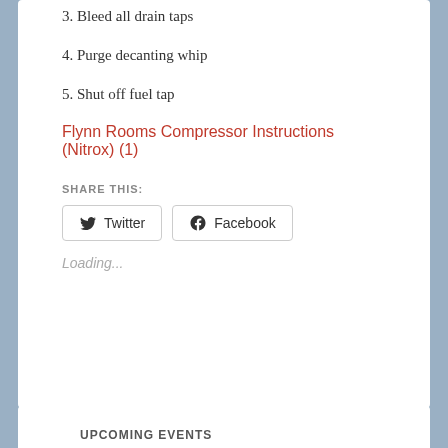3. Bleed all drain taps
4. Purge decanting whip
5. Shut off fuel tap
Flynn Rooms Compressor Instructions (Nitrox) (1)
SHARE THIS:
Twitter
Facebook
Loading...
UPCOMING EVENTS